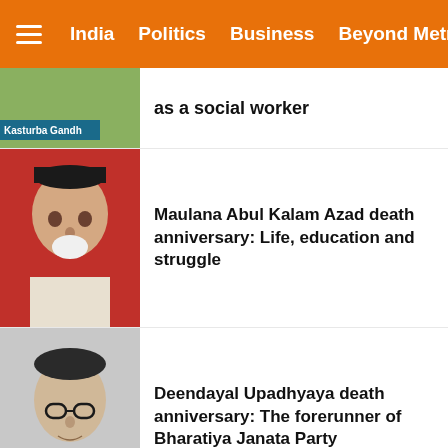India | Politics | Business | Beyond Metros
as a social worker
Maulana Abul Kalam Azad death anniversary: Life, education and struggle
Deendayal Upadhyaya death anniversary: The forerunner of Bharatiya Janata Party
Jamnalal Bajaj death Anniversary: Remembering founder of Bajaj Group of companies
Kumar Vishwas Birthday: Re-visit his most popular poem 'Koi Deewana Kehta Hai'